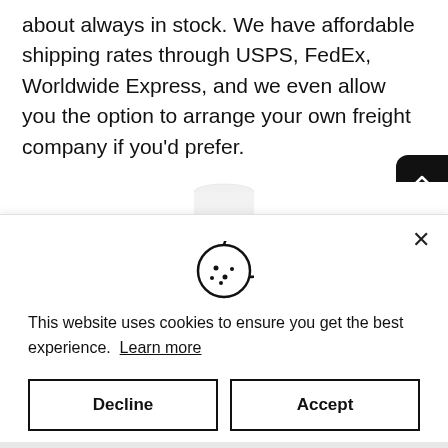about always in stock. We have affordable shipping rates through USPS, FedEx, Worldwide Express, and we even allow you the option to arrange your own freight company if you'd prefer.
[Figure (photo): Partial view of a white cylindrical product container]
[Figure (illustration): Cookie consent dialog overlay with cookie icon, message, Decline and Accept buttons]
This website uses cookies to ensure you get the best experience. Learn more